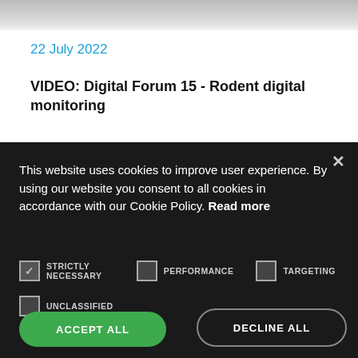[Figure (photo): Partial top edge of an image, showing blurred background, cropped at the top of the page]
22 July 2022
VIDEO: Digital Forum 15 - Rodent digital monitoring
This website uses cookies to improve user experience. By using our website you consent to all cookies in accordance with our Cookie Policy. Read more
STRICTLY NECESSARY
PERFORMANCE
TARGETING
UNCLASSIFIED
SHOW DETAILS
ACCEPT ALL
DECLINE ALL